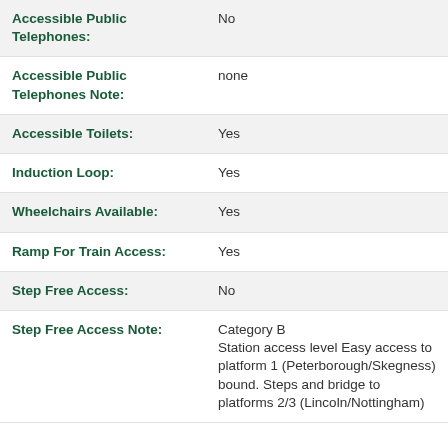| Field | Value |
| --- | --- |
| Accessible Public Telephones: | No |
| Accessible Public Telephones Note: | none |
| Accessible Toilets: | Yes |
| Induction Loop: | Yes |
| Wheelchairs Available: | Yes |
| Ramp For Train Access: | Yes |
| Step Free Access: | No |
| Step Free Access Note: | Category B Station access level Easy access to platform 1 (Peterborough/Skegness) bound. Steps and bridge to platforms 2/3 (Lincoln/Nottingham) |